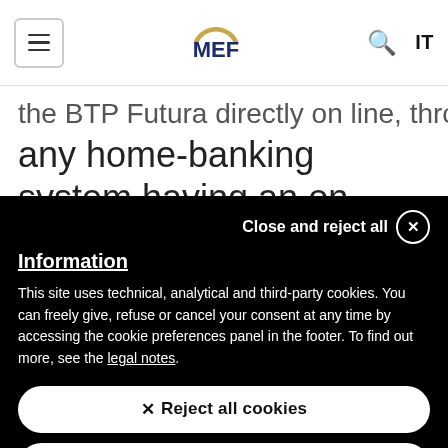MEF — Ministry of Economy and Finance header with hamburger menu, MEF logo, search icon, and IT language selector
the BTP Futura directly on line, through any home-banking system having an on-
Close and reject all ✕
Information
This site uses technical, analytical and third-party cookies. You can freely give, refuse or cancel your consent at any time by accessing the cookie preferences panel in the footer. To find out more, see the legal notes.
✕ Reject all cookies
✓ Accept all cookies
Go to cookie preferences